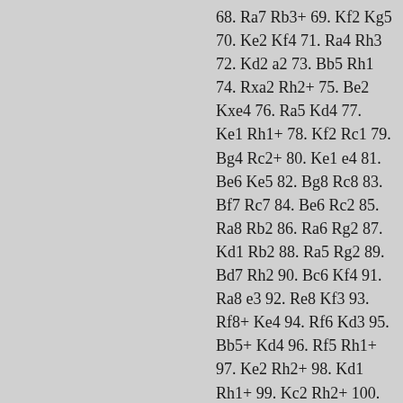68. Ra7 Rb3+ 69. Kf2 Kg5 70. Ke2 Kf4 71. Ra4 Rh3 72. Kd2 a2 73. Bb5 Rh1 74. Rxa2 Rh2+ 75. Be2 Kxe4 76. Ra5 Kd4 77. Ke1 Rh1+ 78. Kf2 Rc1 79. Bg4 Rc2+ 80. Ke1 e4 81. Be6 Ke5 82. Bg8 Rc8 83. Bf7 Rc7 84. Be6 Rc2 85. Ra8 Rb2 86. Ra6 Rg2 87. Kd1 Rb2 88. Ra5 Rg2 89. Bd7 Rh2 90. Bc6 Kf4 91. Ra8 e3 92. Re8 Kf3 93. Rf8+ Ke4 94. Rf6 Kd3 95. Bb5+ Kd4 96. Rf5 Rh1+ 97. Ke2 Rh2+ 98. Kd1 Rh1+ 99. Kc2 Rh2+ 100.